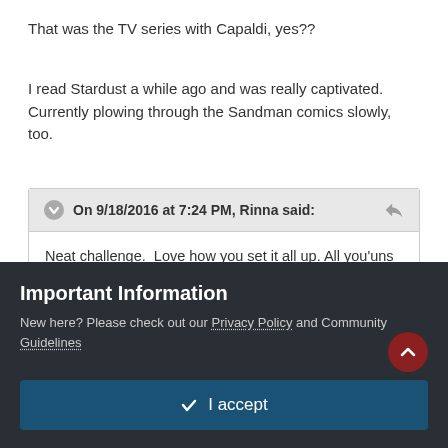That was the TV series with Capaldi, yes??
I read Stardust a while ago and was really captivated.  Currently plowing through the Sandman comics slowly, too.
On 9/18/2016 at 7:24 PM, Rinna said:
Neat challenge.  Love how you set it all up. All you'uns who have these awesome story lines make me feel lazy and lame.  Maybe in the future.....
Flollowing.
Sometimes I get me a good idea and run with it
Important Information
New here? Please check out our Privacy Policy and Community Guidelines
✓  I accept